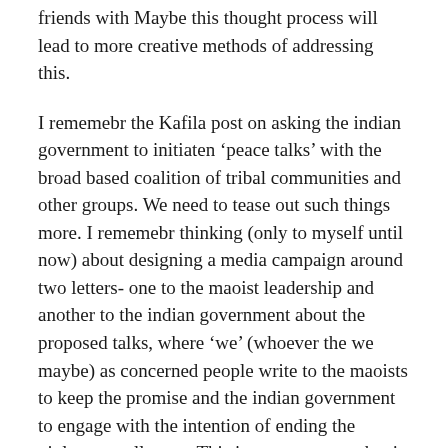friends with Maybe this thought process will lead to more creative methods of addressing this.
I rememebr the Kafila post on asking the indian government to initiaten ‘peace talks’ with the broad based coalition of tribal communities and other groups. We need to tease out such things more. I rememebr thinking (only to myself until now) about designing a media campaign around two letters- one to the maoist leadership and another to the indian government about the proposed talks, where ‘we’ (whoever the we maybe) as concerned people write to the maoists to keep the promise and the indian government to engage with the intention of ending the violence at all costs. This is not a strategy that is easy to sell in many circles.
At the cost of sounding like ‘dooms day is coming’ – the scale of these issues and wars are huge and if we don’t gear up now, i am sure being here would soon be like being at a war…